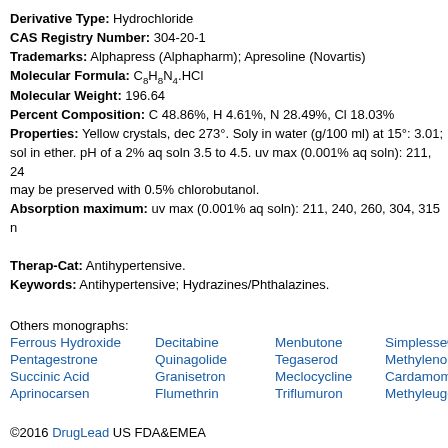Derivative Type: Hydrochloride
CAS Registry Number: 304-20-1
Trademarks: Alphapress (Alphapharm); Apresoline (Novartis)
Molecular Formula: C8H8N4.HCl
Molecular Weight: 196.64
Percent Composition: C 48.86%, H 4.61%, N 28.49%, Cl 18.03%
Properties: Yellow crystals, dec 273°. Soly in water (g/100 ml) at 15°: 3.01; sol in ether. pH of a 2% aq soln 3.5 to 4.5. uv max (0.001% aq soln): 211, 24 may be preserved with 0.5% chlorobutanol.
Absorption maximum: uv max (0.001% aq soln): 211, 240, 260, 304, 315 n
Therap-Cat: Antihypertensive.
Keywords: Antihypertensive; Hydrazines/Phthalazines.
Others monographs:
Ferrous Hydroxide  Decitabine  Menbutone  Simplesse®
Pentagestrone  Quinagolide  Tegaserod  Methylenomycins
Succinic Acid  Granisetron  Meclocycline  Cardamom
Aprinocarsen  Flumethrin  Triflumuron  Methyleugenol
©2016 DrugLead US FDA&EMEA